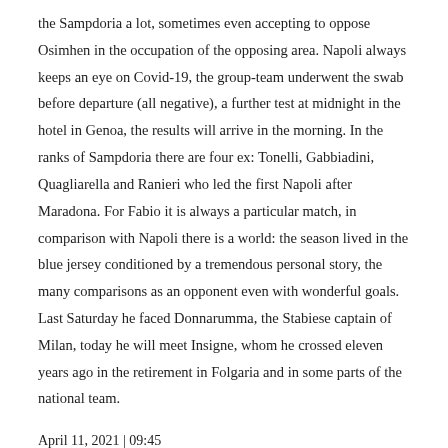the Sampdoria a lot, sometimes even accepting to oppose Osimhen in the occupation of the opposing area. Napoli always keeps an eye on Covid-19, the group-team underwent the swab before departure (all negative), a further test at midnight in the hotel in Genoa, the results will arrive in the morning. In the ranks of Sampdoria there are four ex: Tonelli, Gabbiadini, Quagliarella and Ranieri who led the first Napoli after Maradona. For Fabio it is always a particular match, in comparison with Napoli there is a world: the season lived in the blue jersey conditioned by a tremendous personal story, the many comparisons as an opponent even with wonderful goals. Last Saturday he faced Donnarumma, the Stabiese captain of Milan, today he will meet Insigne, whom he crossed eleven years ago in the retirement in Folgaria and in some parts of the national team.
April 11, 2021 | 09:45
© Time.News